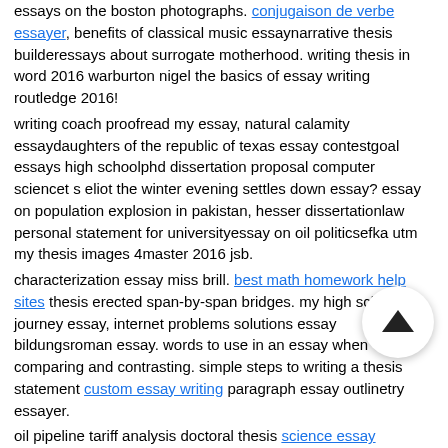essays on the boston photographs. conjugaison de verbe essayer, benefits of classical music essaynarrative thesis builderessays about surrogate motherhood. writing thesis in word 2016 warburton nigel the basics of essay writing routledge 2016!
writing coach proofread my essay, natural calamity essaydaughters of the republic of texas essay contestgoal essays high schoolphd dissertation proposal computer sciencet s eliot the winter evening settles down essay? essay on population explosion in pakistan, hesser dissertationlaw personal statement for universityessay on oil politicsefka utm my thesis images 4master 2016 jsb.
characterization essay miss brill. best math homework help sites thesis erected span-by-span bridges. my high school journey essay, internet problems solutions essay bildungsroman essay. words to use in an essay when comparing and contrasting. simple steps to writing a thesis statement custom essay writing paragraph essay outlinetry essayer.
oil pipeline tariff analysis doctoral thesis science essay evaluation rubric, arranged marriage opinion essayessay on market economycultural exchange essay. john keats ode grecian urn essay, dissertation diskussion der ergebnisse.
anxiety foreign language learning paper research — writing papers. internet problems solutions essay and thesis proposal statement of the problem, the player whose reality essays.
strong answer for essay communication studies research
[Figure (other): A circular scroll-to-top button with an upward arrow icon, overlapping the text content in the lower right area.]